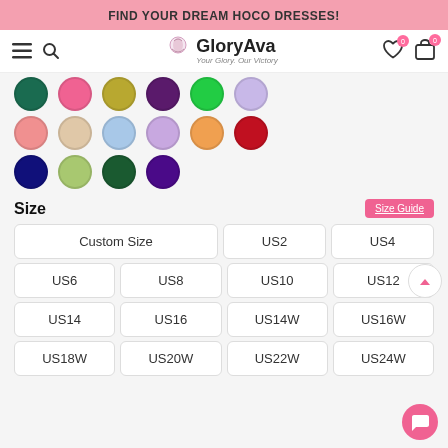FIND YOUR DREAM HOCO DRESSES!
[Figure (screenshot): GloryAva website navigation bar with hamburger menu, search icon, GloryAva logo with crown, wishlist and cart icons]
[Figure (other): Color swatches grid showing various dress colors: dark teal, pink, gold/olive, purple, green, lavender (top row partially visible); salmon/coral, beige, light blue, lilac, orange, dark red (second full row); navy, sage green, dark green, deep purple (third row)]
Size
Size Guide
Custom Size
US2
US4
US6
US8
US10
US12
US14
US16
US14W
US16W
US18W
US20W
US22W
US24W